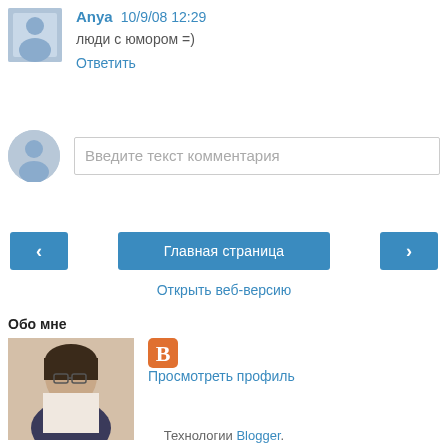Anya 10/9/08 12:29
люди с юмором =)
Ответить
Введите текст комментария
< Главная страница >
Открыть веб-версию
Обо мне
[Figure (photo): Profile photo of a woman with short dark hair and glasses]
Просмотреть профиль
Технологии Blogger.